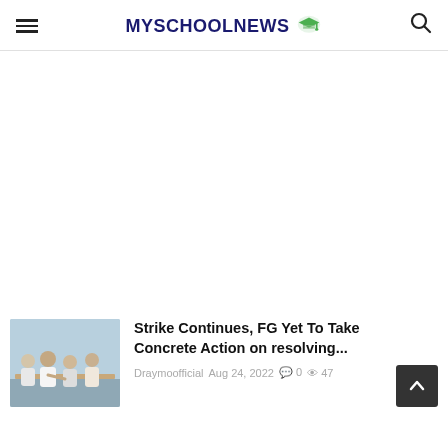MYSCHOOLNEWS
[Figure (photo): Large white advertisement/banner area below the header navigation]
[Figure (photo): Thumbnail photo of people sitting at a meeting table, with a man in white shirt gesturing]
Strike Continues, FG Yet To Take Concrete Action on resolving...
Draymoofficial  Aug 24, 2022  0  47